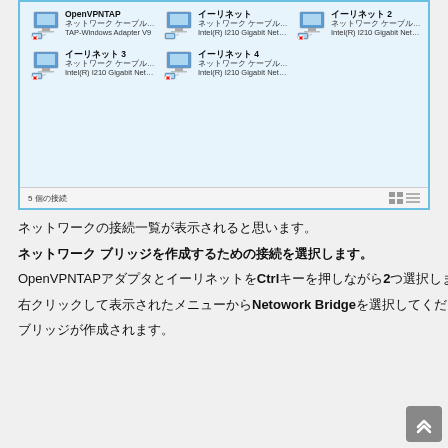[Figure (screenshot): Windows Network Connections window showing 5 network adapters: OpenVPNTAP (TAP-Windows Adapter V9), イーリネット (Intel R I210 Gigabit Network), イーリネット 2 (Intel R I210 Gigabit Network), イーリネット 3 (Intel R I210 Gigabit Network), イーリネット 4 (Intel R I210 Gigabit Network). All show ネットワーク ケーブルが接続されていません status. Footer shows 5個の接続.]
ネットワークの接続一覧が表示されると思います。
ネットワーク ブリッジを作成するための接続を選択します。
OpenVPNTAPアダプタとイーリネットをCtrlキーを押しながら2つ選択します。
右クリックして表示されたメニューからNetowork Bridgeを選択してください。
ブリッジが作成されます。